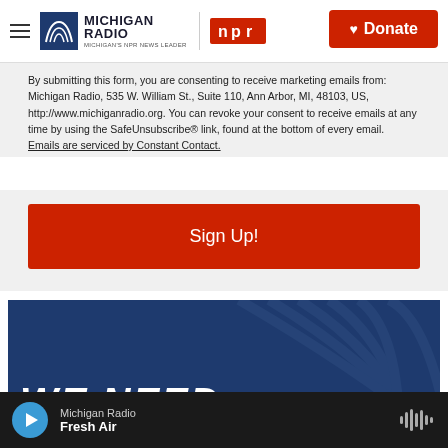Michigan Radio | NPR | Donate
By submitting this form, you are consenting to receive marketing emails from: Michigan Radio, 535 W. William St., Suite 110, Ann Arbor, MI, 48103, US, http://www.michiganradio.org. You can revoke your consent to receive emails at any time by using the SafeUnsubscribe® link, found at the bottom of every email. Emails are serviced by Constant Contact.
[Figure (other): Red Sign Up! button]
[Figure (other): Blue banner with Michigan Radio logo watermark and partial text WE NEED in large white bold italic letters]
Michigan Radio | Fresh Air